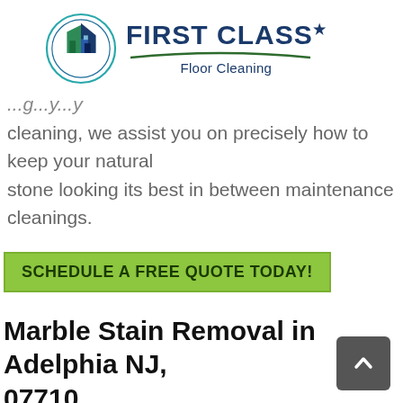[Figure (logo): First Class Floor Cleaning logo with circular icon of houses and green swoosh underline]
cleaning, we assist you on precisely how to keep your natural stone looking its best in between maintenance cleanings.
SCHEDULE A FREE QUOTE TODAY!
Marble Stain Removal in Adelphia NJ, 07710